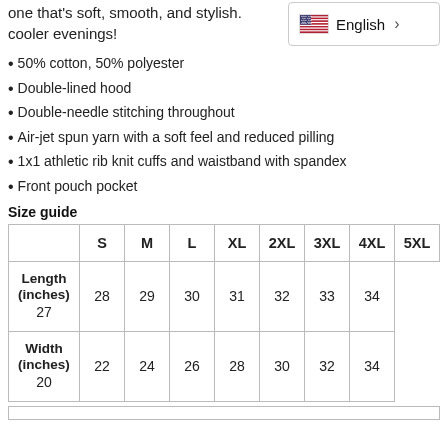one that's soft, smooth, and stylish. cooler evenings!
[Figure (other): US flag icon with English language selector showing a right arrow]
50% cotton, 50% polyester
Double-lined hood
Double-needle stitching throughout
Air-jet spun yarn with a soft feel and reduced pilling
1x1 athletic rib knit cuffs and waistband with spandex
Front pouch pocket
Size guide
|  | S | M | L | XL | 2XL | 3XL | 4XL | 5XL |
| --- | --- | --- | --- | --- | --- | --- | --- | --- |
| Length (inches) | 27 | 28 | 29 | 30 | 31 | 32 | 33 | 34 |
| Width (inches) | 20 | 22 | 24 | 26 | 28 | 30 | 32 | 34 |